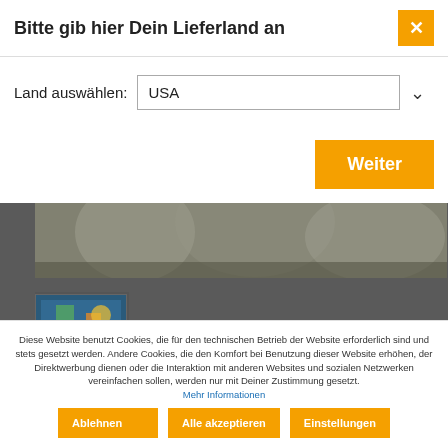Bitte gib hier Dein Lieferland an
Land auswählen:
USA
Weiter
[Figure (photo): Dark greyscale photo of people in white dresses, partially visible]
[Figure (photo): Small thumbnail image with colorful illustration on dark background]
Diese Website benutzt Cookies, die für den technischen Betrieb der Website erforderlich sind und stets gesetzt werden. Andere Cookies, die den Komfort bei Benutzung dieser Website erhöhen, der Direktwerbung dienen oder die Interaktion mit anderen Websites und sozialen Netzwerken vereinfachen sollen, werden nur mit Deiner Zustimmung gesetzt.
Mehr Informationen
Ablehnen
Alle akzeptieren
Einstellungen